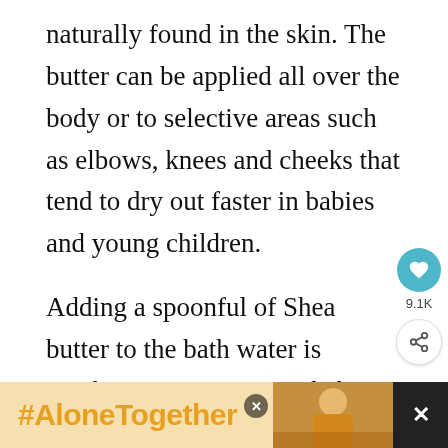naturally found in the skin. The butter can be applied all over the body or to selective areas such as elbows, knees and cheeks that tend to dry out faster in babies and young children.
Adding a spoonful of Shea butter to the bath water is another way to use it on babies. It can form a protective layer on the skin that seals in moisture and acts as a barrier to dust and other environmental contaminants. If the natural nutty smell of Shea butter is not to your liking, mixing in a drop of pure essential
[Figure (other): Social interaction buttons: teal heart/like button with count 9.1K, and a share button below it, positioned at the right side of the page]
[Figure (screenshot): Advertisement banner at bottom: yellow/tan background with bold orange text '#AloneTogether', an image of a woman, close buttons, and a dark right panel with X mark]